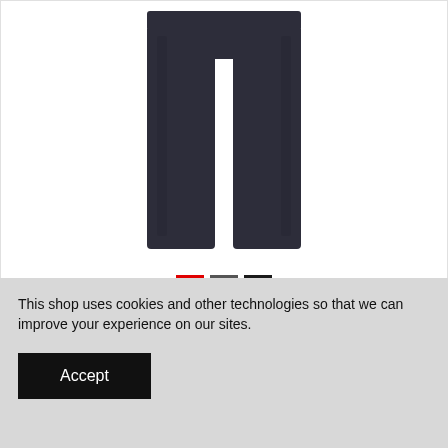[Figure (photo): Dark gray/navy pants product photo with three color swatches below (red, dark gray, black)]
[Figure (photo): Three thumbnail images of the same pants in different colors: blue (first), green (second, unselected), dark gray (third, selected/active border)]
This shop uses cookies and other technologies so that we can improve your experience on our sites.
Accept